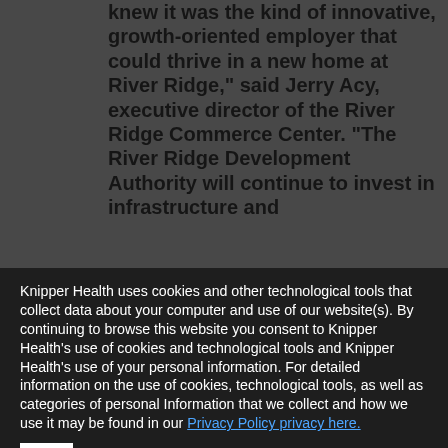knew it was the kind of innovative, growth-oriented employer that could thrive in a new home at River Ridge," said Jerry Acy, executive director of the River Ridge Commerce Center. "The River Ridge Development Authority will continue to invest in infrastructure and
amenities, so River Ridge remains an appealing location for Knipper and other firms serving the healthcare and pharmaceutical industries.
Knipper Health uses cookies and other technological tools that collect data about your computer and use of our website(s). By continuing to browse this website you consent to Knipper Health’s use of cookies and technological tools and Knipper Health’s use of your personal information. For detailed information on the use of cookies, technological tools, as well as categories of personal Information that we collect and how we use it may be found in our Privacy Policy privacy here.
OK